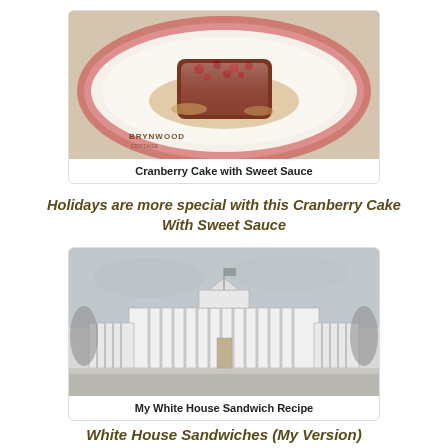[Figure (photo): Photo of cranberry cake with sweet sauce on a decorative red and white plate, with Brynwood Cottage watermark]
Cranberry Cake with Sweet Sauce
Holidays are more special with this Cranberry Cake With Sweet Sauce
[Figure (illustration): Black and white sketch/engraving of the White House front facade]
My White House Sandwich Recipe
White House Sandwiches (My Version)